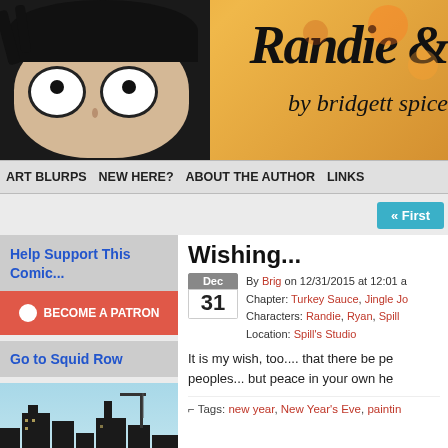[Figure (illustration): Randie & comic strip website banner with cartoon face and text 'Randie &' and 'by bridgett spice']
ART BLURPS  NEW HERE?  ABOUT THE AUTHOR  LINKS
« First
Help Support This Comic...
BECOME A PATRON
Go to Squid Row
[Figure (illustration): City skyline silhouette in blue sky]
Wishing...
By Brig on 12/31/2015 at 12:01 a Chapter: Turkey Sauce, Jingle Jo Characters: Randie, Ryan, Spill Location: Spill's Studio
It is my wish, too.... that there be pe peoples... but peace in your own he
Tags: new year, New Year's Eve, paintin